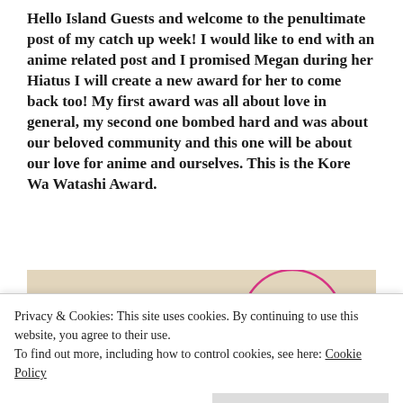Hello Island Guests and welcome to the penultimate post of my catch up week! I would like to end with an anime related post and I promised Megan during her Hiatus I will create a new award for her to come back too! My first award was all about love in general, my second one bombed hard and was about our beloved community and this one will be about our love for anime and ourselves. This is the Kore Wa Watashi Award.
[Figure (photo): Photo with a beige/tan background showing pink text logo 'GRUA3' and a pink outlined arch/dome shape with a small figure inside. Bottom portion shows a bright pink bar.]
Privacy & Cookies: This site uses cookies. By continuing to use this website, you agree to their use.
To find out more, including how to control cookies, see here: Cookie Policy
Close and accept